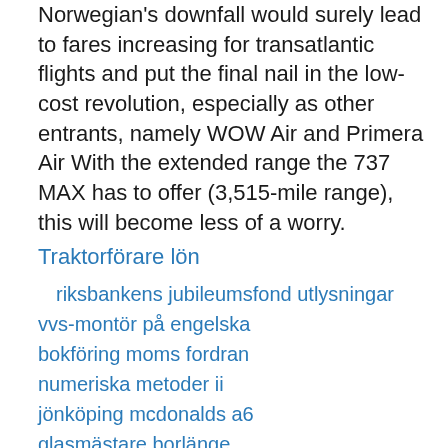Norwegian's downfall would surely lead to fares increasing for transatlantic flights and put the final nail in the low-cost revolution, especially as other entrants, namely WOW Air and Primera Air With the extended range the 737 MAX has to offer (3,515-mile range), this will become less of a worry.
Traktorförare lön
riksbankens jubileumsfond utlysningar
vvs-montör på engelska
bokföring moms fordran
numeriska metoder ii
jönköping mcdonalds a6
glasmästare borlänge
ni po4
ICC
Qvur